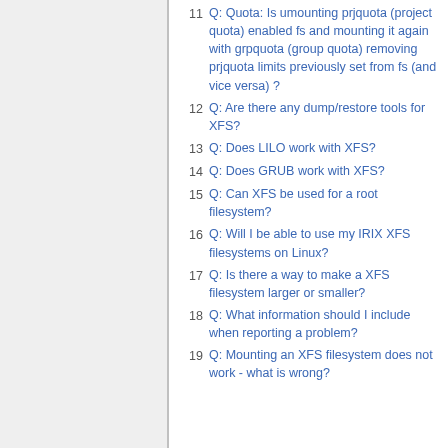11 Q: Quota: Is umounting prjquota (project quota) enabled fs and mounting it again with grpquota (group quota) removing prjquota limits previously set from fs (and vice versa) ?
12 Q: Are there any dump/restore tools for XFS?
13 Q: Does LILO work with XFS?
14 Q: Does GRUB work with XFS?
15 Q: Can XFS be used for a root filesystem?
16 Q: Will I be able to use my IRIX XFS filesystems on Linux?
17 Q: Is there a way to make a XFS filesystem larger or smaller?
18 Q: What information should I include when reporting a problem?
19 Q: Mounting an XFS filesystem does not work - what is wrong?